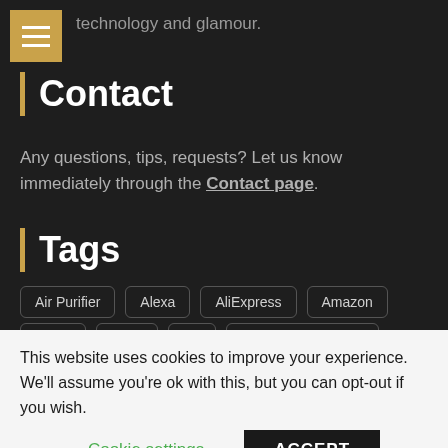technology and glamour.
Contact
Any questions, tips, requests? Let us know immediately through the Contact page.
Tags
Air Purifier
Alexa
AliExpress
Amazon
Apple
Apps
Art
Artificial Intelligence
This website uses cookies to improve your experience. We'll assume you're ok with this, but you can opt-out if you wish.
Cookie settings
ACCEPT